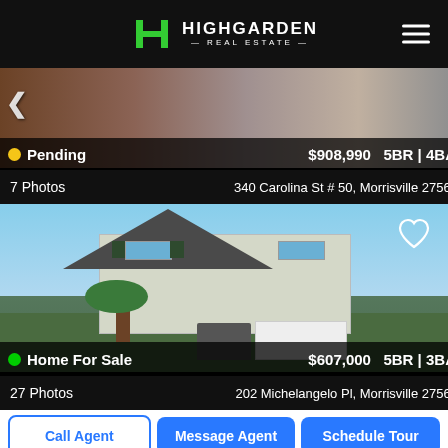[Figure (logo): Highgarden Real Estate logo with green H icon and white text]
[Figure (photo): Exterior photo of brick and siding home, partially visible, pending listing]
Pending  $908,990  5BR | 4BA
7 Photos   340 Carolina St # 50, Morrisville 27560
[Figure (photo): Exterior photo of two-story home for sale with green siding, white garage door, and landscaping]
Home For Sale  $607,000  5BR | 3BA
27 Photos   202 Michelangelo Pl, Morrisville 27560
Call Agent
Message Agent
Schedule Tour